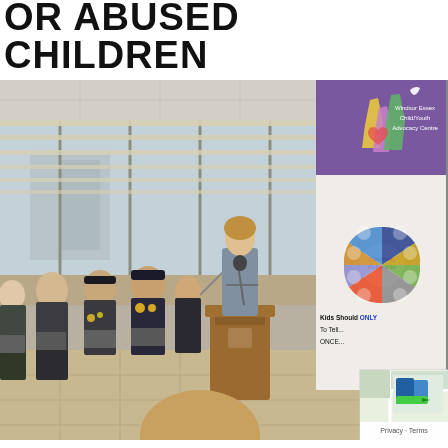OR ABUSED CHILDREN
[Figure (photo): Press conference or announcement event in a community room. A woman speaks at a wooden podium with a microphone. Several officials including uniformed officers sit in chairs behind her. Large windows with blinds are in the background. A banner for the Windsor Essex Child/Youth Advocacy Centre stands to the right. A partially visible Google Maps overlay appears in the bottom right corner. An audience member's head is visible in the foreground.]
Privacy · Terms